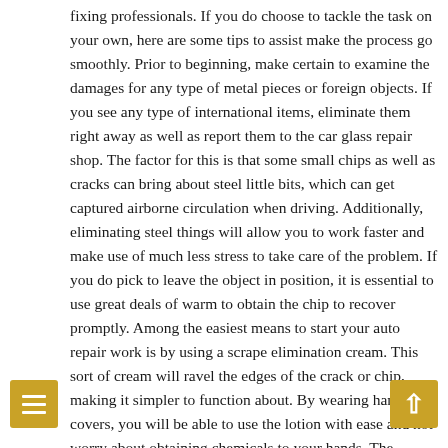fixing professionals. If you do choose to tackle the task on your own, here are some tips to assist make the process go smoothly. Prior to beginning, make certain to examine the damages for any type of metal pieces or foreign objects. If you see any type of international items, eliminate them right away as well as report them to the car glass repair shop. The factor for this is that some small chips as well as cracks can bring about steel little bits, which can get captured airborne circulation when driving. Additionally, eliminating steel things will allow you to work faster and make use of much less stress to take care of the problem. If you do pick to leave the object in position, it is essential to use great deals of warm to obtain the chip to recover promptly. Among the easiest means to start your auto repair work is by using a scrape elimination cream. This sort of cream will ravel the edges of the crack or chip, making it simpler to function about. By wearing handwear covers, you will be able to use the lotion with ease and not worry about obtaining chemicals to your hands. The directions that come with the item must show you the proper amount to use. Prior to you begin, it is very